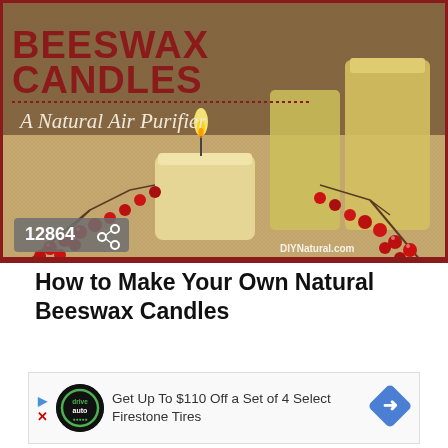[Figure (photo): Photo of beeswax candles in glass mason jars with lit flame, surrounded by red berries on a burlap background. Text overlay reads 'BEESWAX CANDLES – A Natural Air Purifier'. Share count badge shows 12864. DIYNatural.com watermark in bottom right.]
How to Make Your Own Natural Beeswax Candles
[Figure (infographic): Advertisement banner: 'Get Up To $110 Off a Set of 4 Select Firestone Tires'. Features DriveAuto logo (circular black logo) and a blue diamond navigation arrow on the right.]